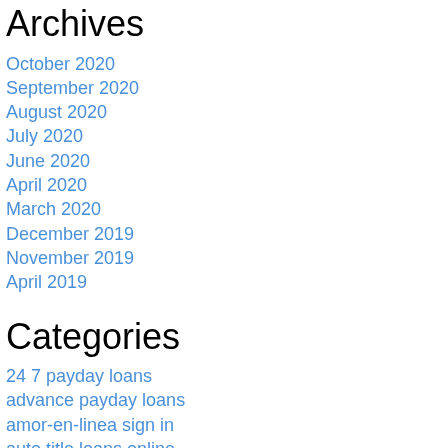Archives
October 2020
September 2020
August 2020
July 2020
June 2020
April 2020
March 2020
December 2019
November 2019
April 2019
Categories
24 7 payday loans
advance payday loans
amor-en-linea sign in
auto title loans online
babel login
bad credit title loans
bdsm.com login